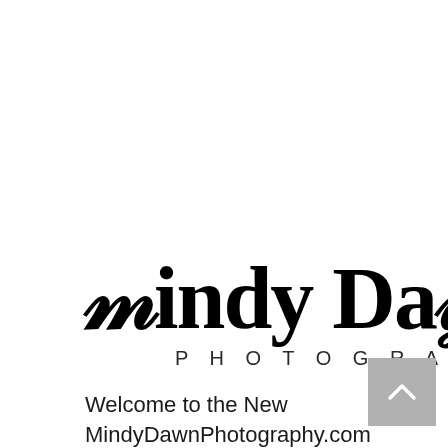[Figure (logo): Mindy Dawn Photography logo — cursive script 'Mindy Daw' (partially cropped) in large black brush lettering above 'PHOTOGRAPHY' in spaced sans-serif capitals. A grey back-to-top arrow button overlaps the right side.]
Welcome to the New MindyDawnPhotography.com